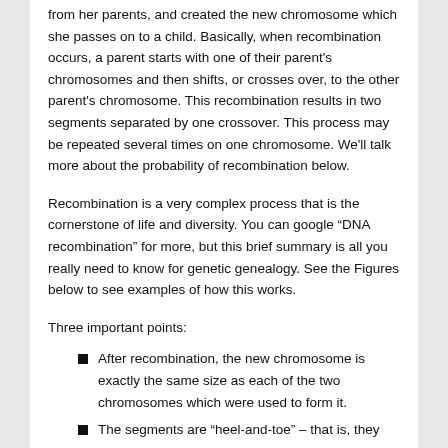from her parents, and created the new chromosome which she passes on to a child. Basically, when recombination occurs, a parent starts with one of their parent's chromosomes and then shifts, or crosses over, to the other parent's chromosome. This recombination results in two segments separated by one crossover. This process may be repeated several times on one chromosome. We'll talk more about the probability of recombination below.
Recombination is a very complex process that is the cornerstone of life and diversity. You can google “DNA recombination” for more, but this brief summary is all you really need to know for genetic genealogy. See the Figures below to see examples of how this works.
Three important points:
After recombination, the new chromosome is exactly the same size as each of the two chromosomes which were used to form it.
The segments are “heel-and-toe” – that is, they are